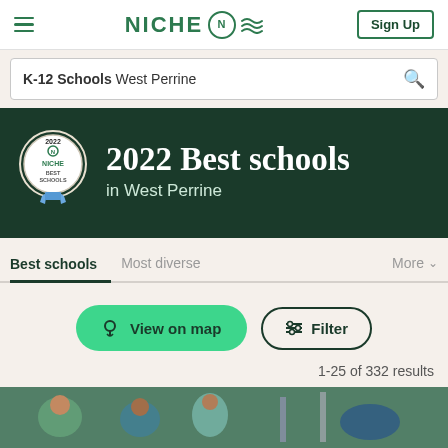NICHE — Sign Up
K-12 Schools West Perrine
2022 Best schools in West Perrine
Best schools | Most diverse | More
View on map | Filter
1-25 of 332 results
[Figure (photo): Children playing at a school playground, photo strip at bottom of page]